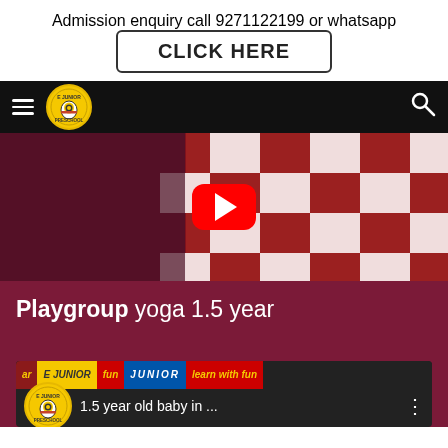Admission enquiry call 9271122199 or whatsapp
CLICK HERE
[Figure (screenshot): Website navigation bar with hamburger menu, E Junior Preschool yellow circular logo, and search icon on black background]
[Figure (screenshot): YouTube video thumbnail showing red and white checkered floor with a YouTube play button overlay]
Playgroup yoga 1.5 year
[Figure (screenshot): Second video thumbnail showing E Junior Preschool logo, text '1.5 year old baby in ...' with banner text 'JUNIOR', 'learn with fun' and three-dot menu icon]